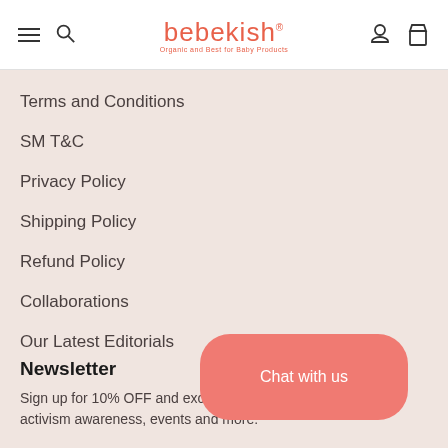bebekish — Organic and Best for Baby Products
Terms and Conditions
SM T&C
Privacy Policy
Shipping Policy
Refund Policy
Collaborations
Our Latest Editorials
Newsletter
Sign up for 10% OFF and exclusive offers, activism awareness, events and more.